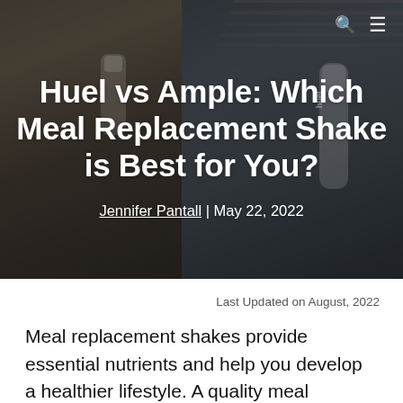[Figure (photo): Hero image showing two women holding meal replacement shake bottles (Ample and Huel) with a dark overlay. Navigation icons (search and menu) visible in top right corner.]
Huel vs Ample: Which Meal Replacement Shake is Best for You?
Jennifer Pantall | May 22, 2022
Last Updated on August, 2022
Meal replacement shakes provide essential nutrients and help you develop a healthier lifestyle. A quality meal replacement shake will